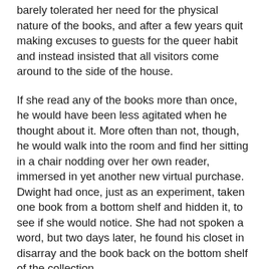barely tolerated her need for the physical nature of the books, and after a few years quit making excuses to guests for the queer habit and instead insisted that all visitors come around to the side of the house.
If she read any of the books more than once, he would have been less agitated when he thought about it. More often than not, though, he would walk into the room and find her sitting in a chair nodding over her own reader, immersed in yet another new virtual purchase. Dwight had once, just as an experiment, taken one book from a bottom shelf and hidden it, to see if she would notice. She had not spoken a word, but two days later, he found his closet in disarray and the book back on the bottom shelf of the collection.
Rhonda caught him in there late the night of their tenth wedding anniversary, tipping back the dregs of the latest social gathering.